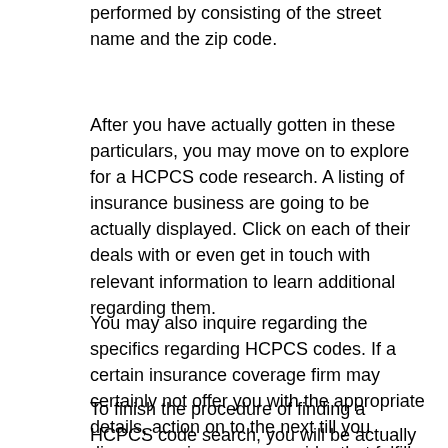performed by consisting of the street name and the zip code.
After you have actually gotten in these particulars, you may move on to explore for a HCPCS code research. A listing of insurance business are going to be actually displayed. Click on each of their deals with or even get in touch with relevant information to learn additional regarding them.
You may also inquire regarding the specifics regarding HCPCS codes. If a certain insurance coverage firm may certainly not offer you with the appropriate details, action on to the next till you discover an insurance provider that fulfills your necessities.
To finish the procedure of finding a HCPCS code search, you will be actually inquired to give the contact info for each firm. These sites permit you to search several insurance coverage providers side